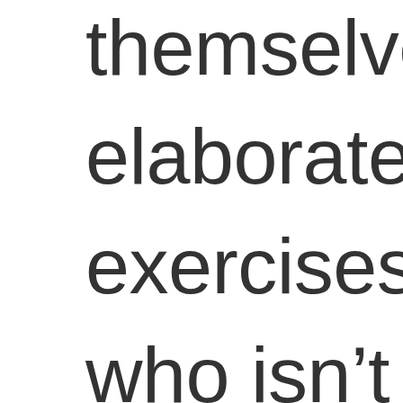themselves in elaborate self criticism exercises. No one who isn't benefiting from their position in activist hierarchy